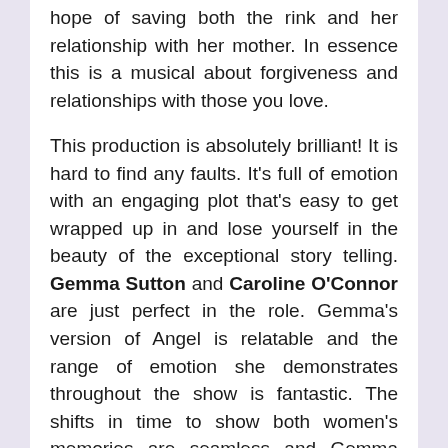hope of saving both the rink and her relationship with her mother. In essence this is a musical about forgiveness and relationships with those you love.
This production is absolutely brilliant! It is hard to find any faults. It's full of emotion with an engaging plot that's easy to get wrapped up in and lose yourself in the beauty of the exceptional story telling. Gemma Sutton and Caroline O'Connor are just perfect in the role. Gemma's version of Angel is relatable and the range of emotion she demonstrates throughout the show is fantastic. The shifts in time to show both women's memories are seamless and Gemma plays a 5-year old Angel just as well as she does the 30 year old who comes home to confront her mother. Anna. Her